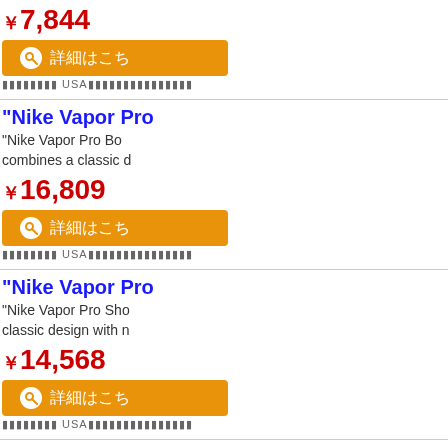￥7,844
詳細はこち
USA
"Nike Vapor Pro"
"Nike Vapor Pro Bo... combines a classic d...
￥16,809
詳細はこち
USA
"Nike Vapor Pro"
"Nike Vapor Pro Sho... classic design with n...
￥14,568
詳細はこち
USA
"Nikes Ladies F"
"STABILITY AND ... responsive cushionin...
￥11,206
詳細はこち
USA